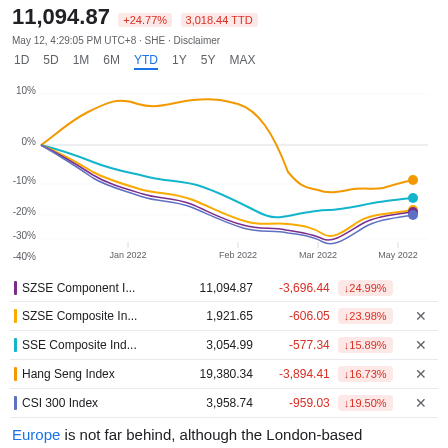11,094.87 +24.77% 3,018.44 TTD
May 12, 4:29:05 PM UTC+8 · SHE · Disclaimer
[Figure (line-chart): YTD performance]
| Index | Value | Change | % Change |  |
| --- | --- | --- | --- | --- |
| SZSE Component I... | 11,094.87 | -3,696.44 | ↓24.99% |  |
| SZSE Composite In... | 1,921.65 | -606.05 | ↓23.98% | × |
| SSE Composite Ind... | 3,054.99 | -577.34 | ↓15.89% | × |
| Hang Seng Index | 19,380.34 | -3,894.41 | ↓16.73% | × |
| CSI 300 Index | 3,958.74 | -959.03 | ↓19.50% | × |
Europe is not far behind, although the London-based